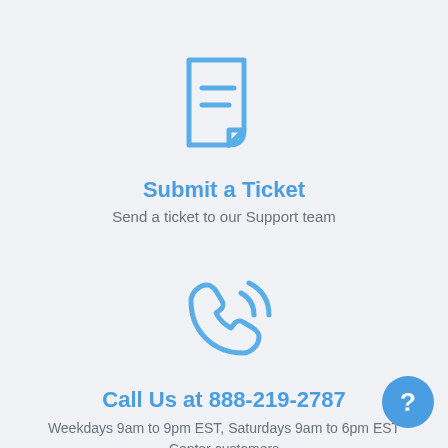[Figure (illustration): Blue outline icon of a document/ticket with two horizontal lines and a folded bottom-right corner]
Submit a Ticket
Send a ticket to our Support team
[Figure (illustration): Blue outline icon of a phone handset with signal/call waves radiating from it]
Call Us at 888-219-2787
Weekdays 9am to 9pm EST, Saturdays 9am to 6pm EST Center customers